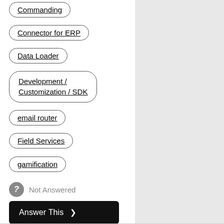Commanding
Connector for ERP
Data Loader
Development / Customization / SDK
email router
Field Services
gamification
Not Answered
Answer This >